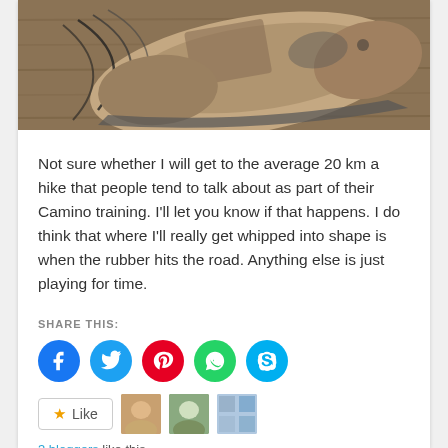[Figure (photo): Close-up photo of a worn hiking boot with dark laces on a wooden surface]
Not sure whether I will get to the average 20 km a hike that people tend to talk about as part of their Camino training. I'll let you know if that happens. I do think that where I'll really get whipped into shape is when the rubber hits the road. Anything else is just playing for time.
SHARE THIS:
[Figure (infographic): Social sharing icons: Facebook (blue circle), Twitter (cyan circle), Pinterest (red circle), WhatsApp (green circle), Skype (blue circle)]
3 bloggers like this.